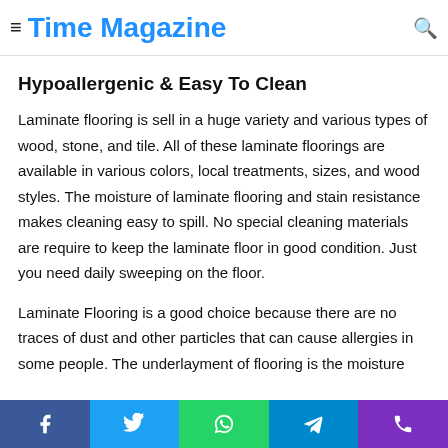business that you want to keep for many years, then consider … decorating
Time Magazine
Hypoallergenic & Easy To Clean
Laminate flooring is sell in a huge variety and various types of wood, stone, and tile. All of these laminate floorings are available in various colors, local treatments, sizes, and wood styles. The moisture of laminate flooring and stain resistance makes cleaning easy to spill. No special cleaning materials are require to keep the laminate floor in good condition. Just you need daily sweeping on the floor.
Laminate Flooring is a good choice because there are no traces of dust and other particles that can cause allergies in some people. The underlayment of flooring is the moisture
Facebook | Twitter | WhatsApp | Telegram | Phone